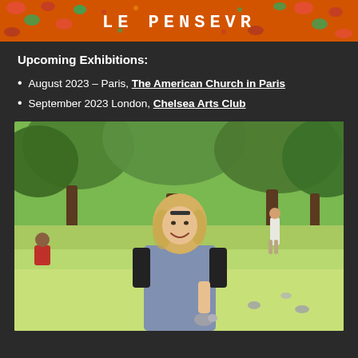[Figure (photo): Artwork banner image with colorful floral/abstract background and text reading 'LE PENSEVR' in bold white letters on orange-red patterned background]
Upcoming Exhibitions:
August 2023 – Paris, The American Church in Paris
September 2023 London, Chelsea Arts Club
[Figure (photo): Outdoor park photo of a smiling blonde woman in a patterned dress holding something, with trees, grass, pigeons, and people in the background]